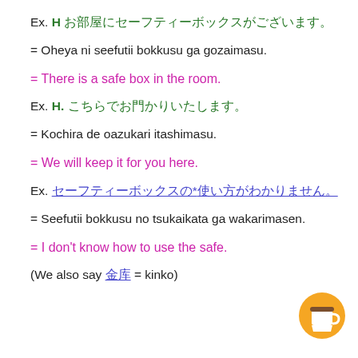Ex. H [Japanese characters]
= Oheya ni seefutii bokkusu ga gozaimasu.
= There is a safe box in the room.
Ex. H. [Japanese characters]
= Kochira de oazukari itashimasu.
= We will keep it for you here.
Ex. [Japanese characters]*[Japanese characters]
= Seefutii bokkusu no tsukaikata ga wakarimasen.
= I don't know how to use the safe.
(We also say [??] = kinko)